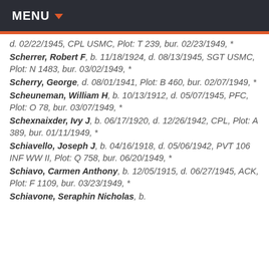MENU
d. 02/22/1945, CPL USMC, Plot: T 239, bur. 02/23/1949, *
Scherrer, Robert F, b. 11/18/1924, d. 08/13/1945, SGT USMC, Plot: N 1483, bur. 03/02/1949, *
Scherry, George, d. 08/01/1941, Plot: B 460, bur. 02/07/1949, *
Scheuneman, William H, b. 10/13/1912, d. 05/07/1945, PFC, Plot: O 78, bur. 03/07/1949, *
Schexnaixder, Ivy J, b. 06/17/1920, d. 12/26/1942, CPL, Plot: A 389, bur. 01/11/1949, *
Schiavello, Joseph J, b. 04/16/1918, d. 05/06/1942, PVT 106 INF WW II, Plot: Q 758, bur. 06/20/1949, *
Schiavo, Carmen Anthony, b. 12/05/1915, d. 06/27/1945, ACK, Plot: F 1109, bur. 03/23/1949, *
Schiavone, Seraphin Nicholas, b.